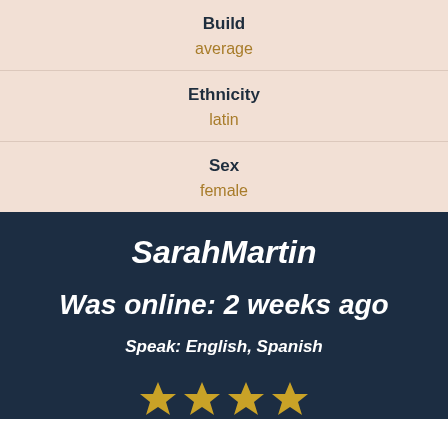Build
average
Ethnicity
latin
Sex
female
SarahMartin
Was online: 2 weeks ago
Speak: English, Spanish
[Figure (other): Four gold star rating icons partially visible at bottom]